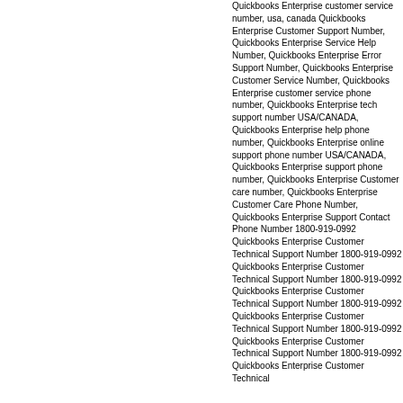Quickbooks Enterprise customer service number, usa, canada Quickbooks Enterprise Customer Support Number, Quickbooks Enterprise Service Help Number, Quickbooks Enterprise Error Support Number, Quickbooks Enterprise Customer Service Number, Quickbooks Enterprise customer service phone number, Quickbooks Enterprise tech support number USA/CANADA, Quickbooks Enterprise help phone number, Quickbooks Enterprise online support phone number USA/CANADA, Quickbooks Enterprise support phone number, Quickbooks Enterprise Customer care number, Quickbooks Enterprise Customer Care Phone Number, Quickbooks Enterprise Support Contact Phone Number 1800-919-0992 Quickbooks Enterprise Customer Technical Support Number 1800-919-0992 Quickbooks Enterprise Customer Technical Support Number 1800-919-0992 Quickbooks Enterprise Customer Technical Support Number 1800-919-0992 Quickbooks Enterprise Customer Technical Support Number 1800-919-0992 Quickbooks Enterprise Customer Technical Support Number 1800-919-0992 Quickbooks Enterprise Customer Technical